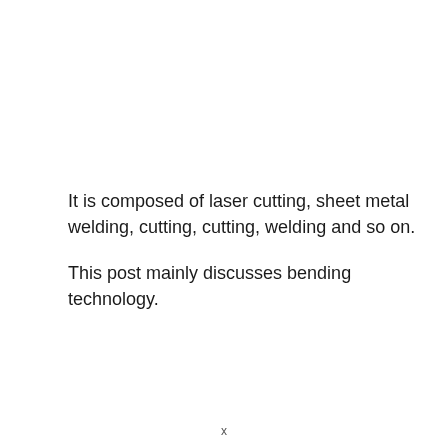It is composed of laser cutting, sheet metal welding, cutting, cutting, welding and so on.
This post mainly discusses bending technology.